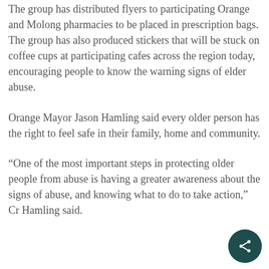The group has distributed flyers to participating Orange and Molong pharmacies to be placed in prescription bags. The group has also produced stickers that will be stuck on coffee cups at participating cafes across the region today, encouraging people to know the warning signs of elder abuse.
Orange Mayor Jason Hamling said every older person has the right to feel safe in their family, home and community.
“One of the most important steps in protecting older people from abuse is having a greater awareness about the signs of abuse, and knowing what to do to take action,” Cr Hamling said.